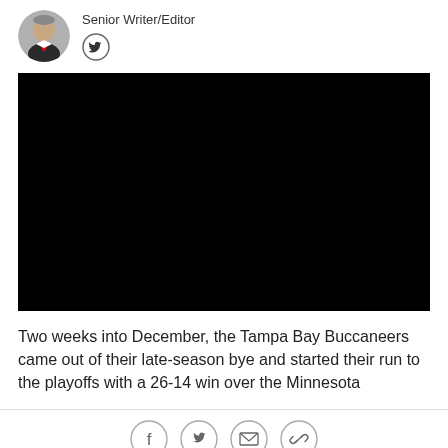[Figure (photo): Circular author headshot photo of a man in suit with red tie]
Senior Writer/Editor
[Figure (other): Twitter/X social icon circle button]
[Figure (other): Black video player embed area]
Two weeks into December, the Tampa Bay Buccaneers came out of their late-season bye and started their run to the playoffs with a 26-14 win over the Minnesota
[Figure (other): Social share bar with Facebook, Twitter, email, and link icons]